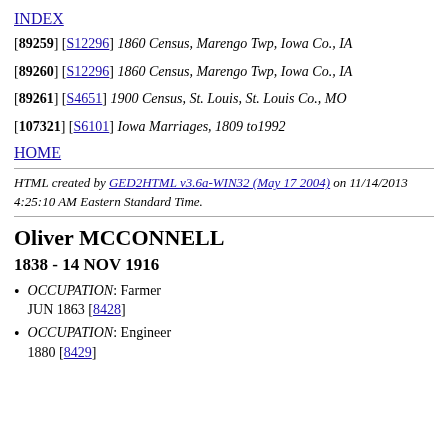INDEX
[89259] [S12296] 1860 Census, Marengo Twp, Iowa Co., IA
[89260] [S12296] 1860 Census, Marengo Twp, Iowa Co., IA
[89261] [S4651] 1900 Census, St. Louis, St. Louis Co., MO
[107321] [S6101] Iowa Marriages, 1809 to1992
HOME
HTML created by GED2HTML v3.6a-WIN32 (May 17 2004) on 11/14/2013 4:25:10 AM Eastern Standard Time.
Oliver MCCONNELL
1838 - 14 NOV 1916
OCCUPATION: Farmer JUN 1863 [8428]
OCCUPATION: Engineer 1880 [8429]